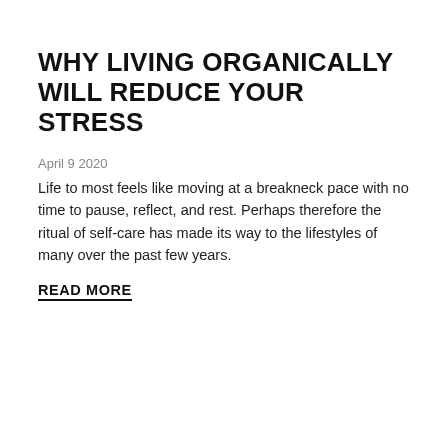WHY LIVING ORGANICALLY WILL REDUCE YOUR STRESS
April 9 2020
Life to most feels like moving at a breakneck pace with no time to pause, reflect, and rest. Perhaps therefore the ritual of self-care has made its way to the lifestyles of many over the past few years.
READ MORE